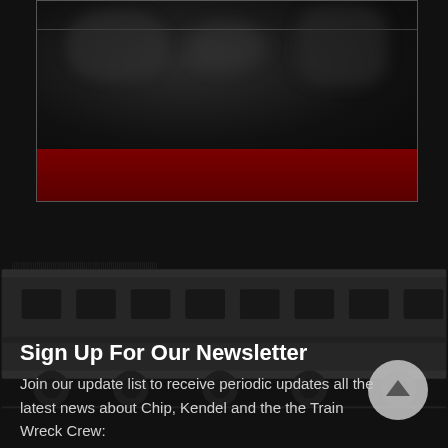[Figure (photo): Dark card with blurred photo background and dark red banner at the bottom]
Sign Up For Our Newsletter
Join our update list to receive periodic updates all the latest news about Chip, Kendel and the the Train Wreck Crew:
* Indicates required field